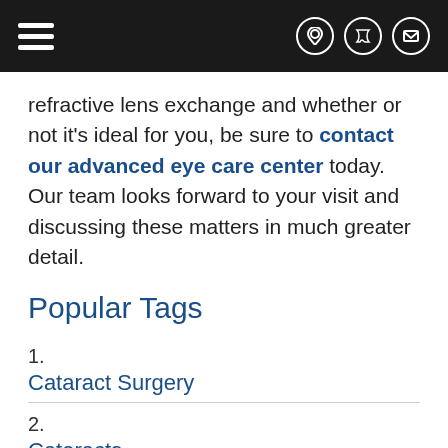[hamburger menu icon] [location icon] [phone icon] [email icon]
refractive lens exchange and whether or not it's ideal for you, be sure to contact our advanced eye care center today. Our team looks forward to your visit and discussing these matters in much greater detail.
Popular Tags
1. Cataract Surgery
2. Cataracts
3. Complications